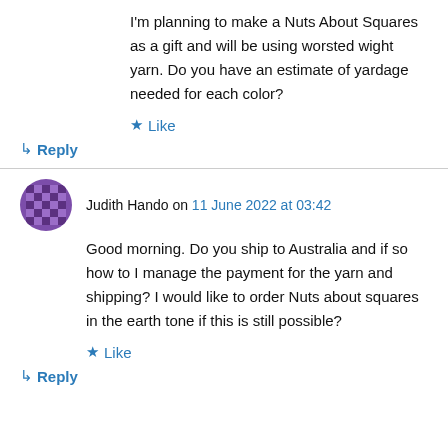I'm planning to make a Nuts About Squares as a gift and will be using worsted wight yarn. Do you have an estimate of yardage needed for each color?
★ Like
↳ Reply
Judith Hando on 11 June 2022 at 03:42
Good morning. Do you ship to Australia and if so how to I manage the payment for the yarn and shipping? I would like to order Nuts about squares in the earth tone if this is still possible?
★ Like
↳ Reply